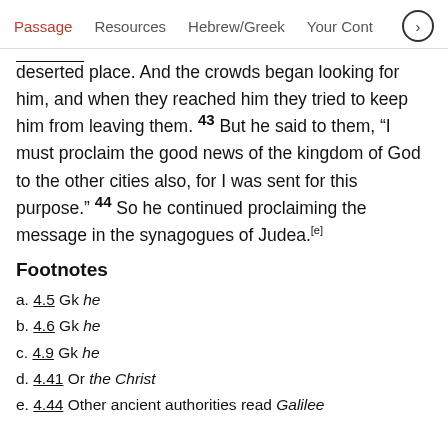Passage   Resources   Hebrew/Greek   Your Cont >
deserted place. And the crowds began looking for him, and when they reached him they tried to keep him from leaving them. 43 But he said to them, “I must proclaim the good news of the kingdom of God to the other cities also, for I was sent for this purpose.” 44 So he continued proclaiming the message in the synagogues of Judea.[e]
Footnotes
a. 4.5 Gk he
b. 4.6 Gk he
c. 4.9 Gk he
d. 4.41 Or the Christ
e. 4.44 Other ancient authorities read Galilee